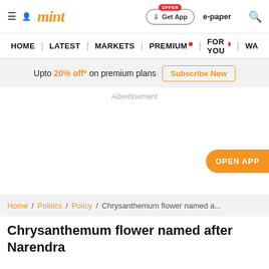mint | Get App | e-paper
HOME | LATEST | MARKETS | PREMIUM | FOR YOU | WA
Upto 20% off* on premium plans  Subscribe Now
Advertisement
OPEN APP
Home / Politics / Policy / Chrysanthemum flower named a...
Chrysanthemum flower named after Narendra